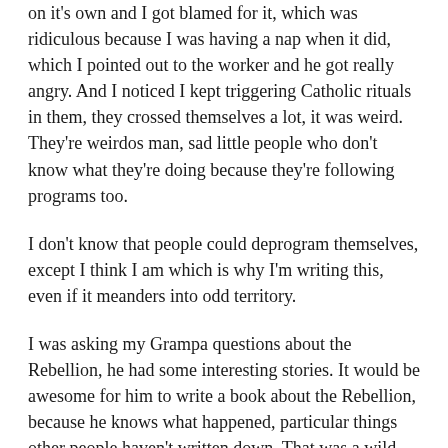on it's own and I got blamed for it, which was ridiculous because I was having a nap when it did, which I pointed out to the worker and he got really angry. And I noticed I kept triggering Catholic rituals in them, they crossed themselves a lot, it was weird. They're weirdos man, sad little people who don't know what they're doing because they're following programs too.
I don't know that people could deprogram themselves, except I think I am which is why I'm writing this, even if it meanders into odd territory.
I was asking my Grampa questions about the Rebellion, he had some interesting stories. It would be awesome for him to write a book about the Rebellion, because he knows what happened, particular things other people haven't written down. That was a wild time man. It was a time of double agents here and there, very dramatic Indian Noir kind of stuff. And apparently my great great grandmother